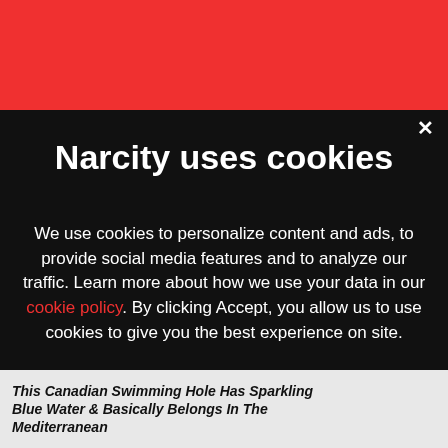[Figure (screenshot): Red header bar of Narcity website]
Narcity uses cookies
We use cookies to personalize content and ads, to provide social media features and to analyze our traffic. Learn more about how we use your data in our cookie policy. By clicking Accept, you allow us to use cookies to give you the best experience on site.
Accept
This Canadian Swimming Hole Has Sparkling Blue Water & Basically Belongs In The Mediterranean